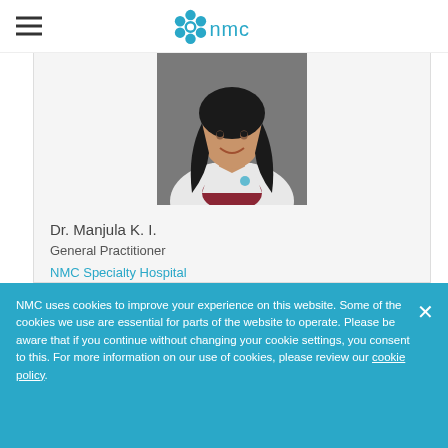NMC (logo)
[Figure (photo): Portrait photo of Dr. Manjula K. I., a woman in a white doctor's coat, smiling, with dark hair, against a grey studio background.]
Dr. Manjula K. I.
General Practitioner
NMC Specialty Hospital
Abu Dhabi
NMC uses cookies to improve your experience on this website. Some of the cookies we use are essential for parts of the website to operate. Please be aware that if you continue without changing your cookie settings, you consent to this. For more information on our use of cookies, please review our cookie policy.